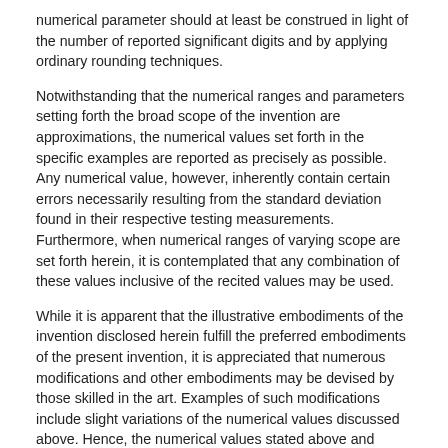numerical parameter should at least be construed in light of the number of reported significant digits and by applying ordinary rounding techniques.
Notwithstanding that the numerical ranges and parameters setting forth the broad scope of the invention are approximations, the numerical values set forth in the specific examples are reported as precisely as possible. Any numerical value, however, inherently contain certain errors necessarily resulting from the standard deviation found in their respective testing measurements. Furthermore, when numerical ranges of varying scope are set forth herein, it is contemplated that any combination of these values inclusive of the recited values may be used.
While it is apparent that the illustrative embodiments of the invention disclosed herein fulfill the preferred embodiments of the present invention, it is appreciated that numerous modifications and other embodiments may be devised by those skilled in the art. Examples of such modifications include slight variations of the numerical values discussed above. Hence, the numerical values stated above and claimed below specifically include those values and the values that are approximately or nearly close to the stated and claimed values. Therefore, it will be understood that the appended claims are intended to cover all such modifications and embodiments, which would come within the spirit and scope of the present invention.